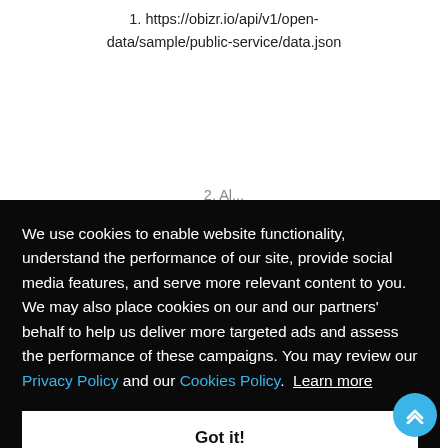1. https://obizr.io/api/v1/open-data/sample/public-service/data.json
[Figure (screenshot): Cookie consent overlay on a dark background. Text reads: 'We use cookies to enable website functionality, understand the performance of our site, provide social media features, and serve more relevant content to you. We may also place cookies on our and our partners' behalf to help us deliver more targeted ads and assess the performance of these campaigns. You may review our Privacy Policy and our Cookies Policy. Learn more' with a white 'Got it!' button at the bottom. A blue scroll-to-top button appears at the bottom right of the page.]